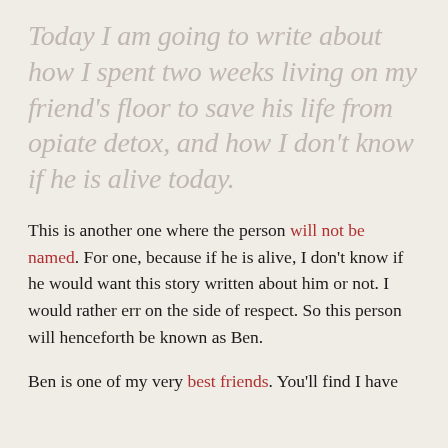Today I am going to write about how I spent two weeks living on my friend's floor to save his life from opiate detox, and how I don't know if he is alive today.
This is another one where the person will not be named. For one, because if he is alive, I don't know if he would want this story written about him or not. I would rather err on the side of respect. So this person will henceforth be known as Ben.
Ben is one of my very best friends. You'll find I have